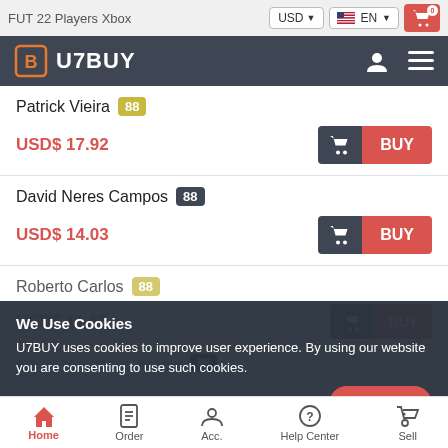FUT 22 Players Xbox | USD | EN | Cart (0)
U7BUY
Patrick Vieira 88 — USD$ 17.92 — BUY
David Neres Campos 88 — USD$ 14.03 — BUY
Roberto Carlos 88 — USD$ 11.55 — BUY (partially visible)
We Use Cookies
U7BUY uses cookies to improve user experience. By using our website you are consenting to use such cookies.
Arthur Mend... (partially visible)
Home | Order | Acc. | Help Center | Sell